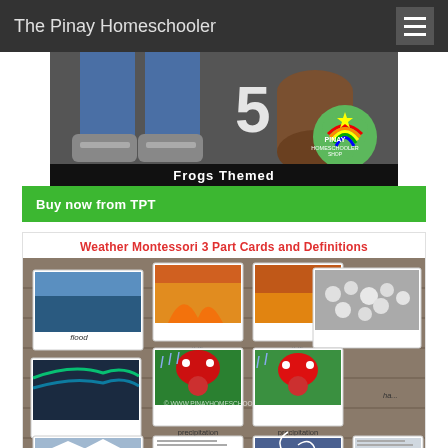The Pinay Homeschooler
[Figure (illustration): Frogs Themed educational product banner showing cartoon legs and a number 5 with a Pinay Homeschooler Shop badge, labeled 'Frogs Themed']
Buy now from TPT
Weather Montessori 3 Part Cards and Definitions
[Figure (photo): Montessori 3 part cards for weather themed vocabulary showing wildfire, precipitation, hail, flood, hurricane cards with photo cards and label cards arranged on a wooden surface]